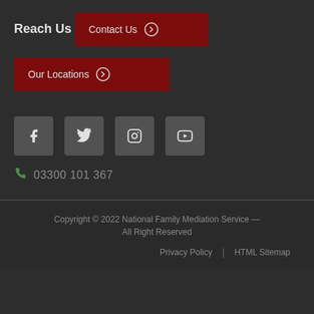Reach Us
Contact Us →
Our Locations →
[Figure (other): Social media icons: Facebook, Twitter, Instagram, YouTube]
03300 101 367
Copyright © 2022 National Family Mediation Service — All Right Reserved  |  Privacy Policy  |  HTML Sitemap